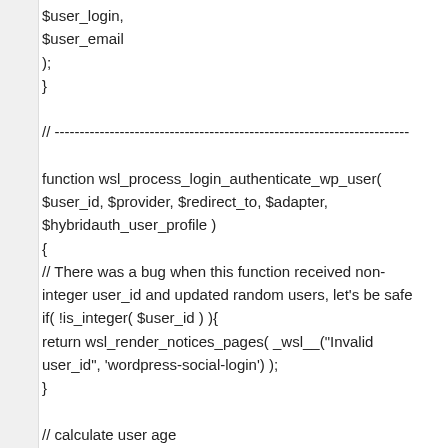$user_login,
$user_email
);
}

// -----------------------------------------------------------------------

function wsl_process_login_authenticate_wp_user(
$user_id, $provider, $redirect_to, $adapter,
$hybridauth_user_profile )
{
// There was a bug when this function received non-integer user_id and updated random users, let's be safe
if( !is_integer( $user_id ) ){
return wsl_render_notices_pages( _wsl_("Invalid user_id", 'wordpress-social-login') );
}

// calculate user age
$user_age = $hybridauth_user_profile->age;

// not that precise you say... well welcome to my world
if( ! $user_age && (int) $hybridauth_user_profile-